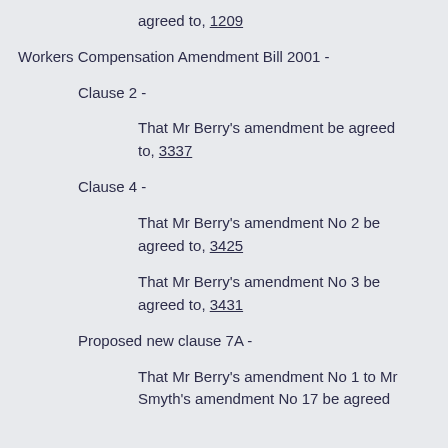agreed to, 1209
Workers Compensation Amendment Bill 2001 -
Clause 2 -
That Mr Berry's amendment be agreed to, 3337
Clause 4 -
That Mr Berry's amendment No 2 be agreed to, 3425
That Mr Berry's amendment No 3 be agreed to, 3431
Proposed new clause 7A -
That Mr Berry's amendment No 1 to Mr Smyth's amendment No 17 be agreed